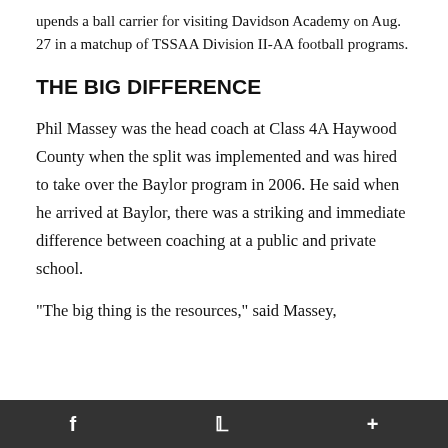upends a ball carrier for visiting Davidson Academy on Aug. 27 in a matchup of TSSAA Division II-AA football programs.
THE BIG DIFFERENCE
Phil Massey was the head coach at Class 4A Haywood County when the split was implemented and was hired to take over the Baylor program in 2006. He said when he arrived at Baylor, there was a striking and immediate difference between coaching at a public and private school.
"The big thing is the resources," said Massey,
f  🐦  +